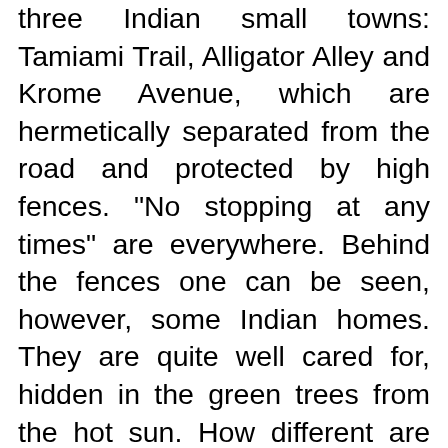three Indian small towns: Tamiami Trail, Alligator Alley and Krome Avenue, which are hermetically separated from the road and protected by high fences. "No stopping at any times" are everywhere. Behind the fences one can be seen, however, some Indian homes. They are quite well cared for, hidden in the green trees from the hot sun. How different are these settlements from Indian reservations in Arizona! There the majority of Indian homes are squalid caravan parked in the middle of the semidesert with a multitude of trash scattered around helplessly. What makes the relative wealth of Miccosukee Indians? First, the Everglades N.P. is frequently visited by thousands of tourists from near Miami. Close to the border of the park they have become these are Interlake